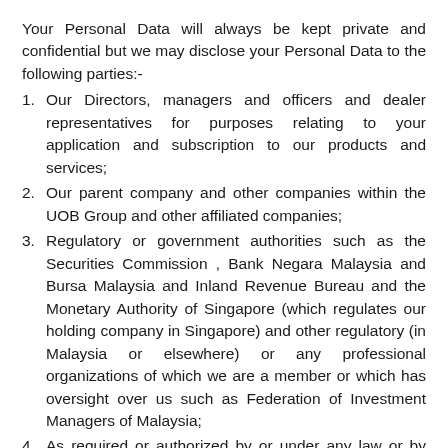Your Personal Data will always be kept private and confidential but we may disclose your Personal Data to the following parties:-
Our Directors, managers and officers and dealer representatives for purposes relating to your application and subscription to our products and services;
Our parent company and other companies within the UOB Group and other affiliated companies;
Regulatory or government authorities such as the Securities Commission , Bank Negara Malaysia and Bursa Malaysia and Inland Revenue Bureau and the Monetary Authority of Singapore (which regulates our holding company in Singapore) and other regulatory (in Malaysia or elsewhere) or any professional organizations of which we are a member or which has oversight over us such as Federation of Investment Managers of Malaysia;
As required or authorized by or under any law or by Order of Court or other legal process or regulatory